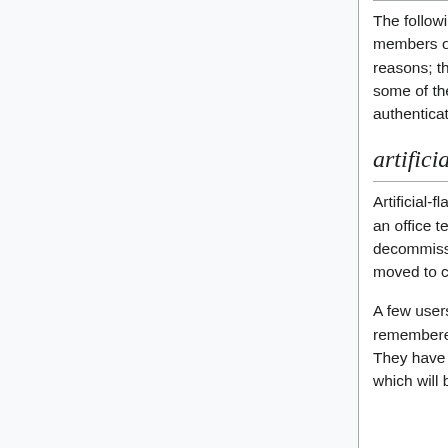The following systems may only be accessible to members of the Systems Committee for a variety of reasons; the most common of which being that some of these machines host Kerberos authentication services for the CSC.
artificial-flavours
Artificial-flavours is our backup server. It used to be an office terminal. It is scheduled to be decommissioned once the backup services are moved to containers on cobalamin.
A few users were running jobs before we remembered to make a-f actually be syscom-only. They have grandfathered access to the machine, which will be removed at some point.